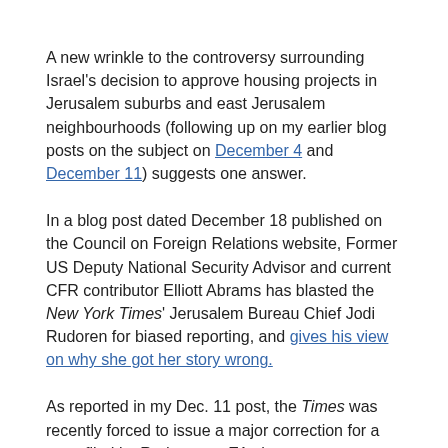A new wrinkle to the controversy surrounding Israel's decision to approve housing projects in Jerusalem suburbs and east Jerusalem neighbourhoods (following up on my earlier blog posts on the subject on December 4 and December 11) suggests one answer.
In a blog post dated December 18 published on the Council on Foreign Relations website, Former US Deputy National Security Advisor and current CFR contributor Elliott Abrams has blasted the New York Times' Jerusalem Bureau Chief Jodi Rudoren for biased reporting, and gives his view on why she got her story wrong.
As reported in my Dec. 11 post, the Times was recently forced to issue a major correction for a story filed by Rudoren on E1, the new neighbourhood for Jerusalem's eastern suburb Ma'ale Adumim.
Abrams wrote that the Times' correction was watered down and skirted around the real issue.